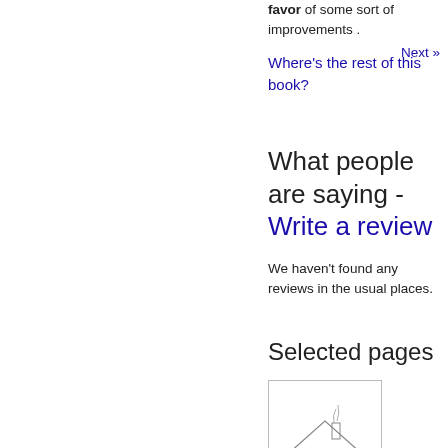favor of some sort of improvements .
Next »
Where's the rest of this book?
What people are saying - Write a review
We haven't found any reviews in the usual places.
Selected pages
[Figure (illustration): Thumbnail image of a selected page showing an illustration of a house or building with smoke or steam.]